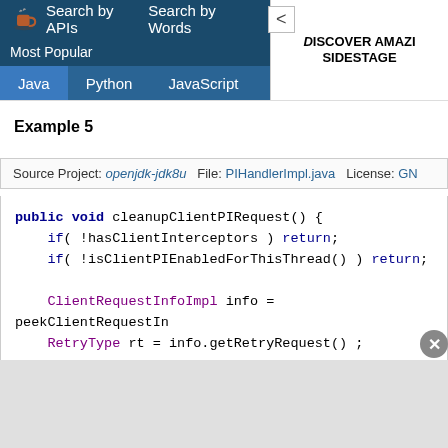Search by APIs  Search by Words  Most Popular  Java  Python  JavaScript  TypeScript
Example 5
Source Project: openjdk-jdk8u  File: PIHandlerImpl.java  License: GNU
[Figure (screenshot): Java code block showing public void cleanupClientPIRequest() method with if statements checking hasClientInterceptors and isClientPIEnabledForThisThread, ClientRequestInfoImpl and RetryType variable declarations, and a comment // fix for 6763340]
[Figure (other): Advertisement banner: DISCOVER AMAZING SIDESTAGE text on white background]